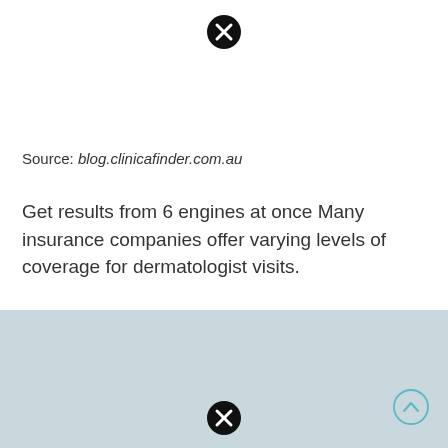[Figure (other): Black circle with white X close button icon at top center]
Source: blog.clinicafinder.com.au
Get results from 6 engines at once Many insurance companies offer varying levels of coverage for dermatologist visits.
[Figure (other): Light blue-grey panel/background area occupying the lower portion of the page]
[Figure (other): Scroll-to-top circular button with upward chevron arrow, teal outline]
[Figure (other): Black circle with white X close button icon at bottom center]